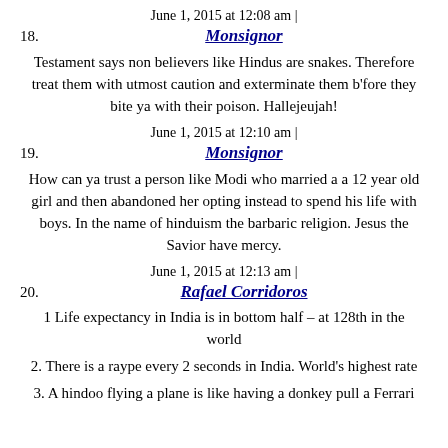June 1, 2015 at 12:08 am |
18.  Monsignor
Testament says non believers like Hindus are snakes. Therefore treat them with utmost caution and exterminate them b'fore they bite ya with their poison. Hallejeujah!
June 1, 2015 at 12:10 am |
19.  Monsignor
How can ya trust a person like Modi who married a a 12 year old girl and then abandoned her opting instead to spend his life with boys. In the name of hinduism the barbaric religion. Jesus the Savior have mercy.
June 1, 2015 at 12:13 am |
20.  Rafael Corridoros
1 Life expectancy in India is in bottom half – at 128th in the world
2. There is a raype every 2 seconds in India. World's highest rate
3. A hindoo flying a plane is like having a donkey pull a Ferrari